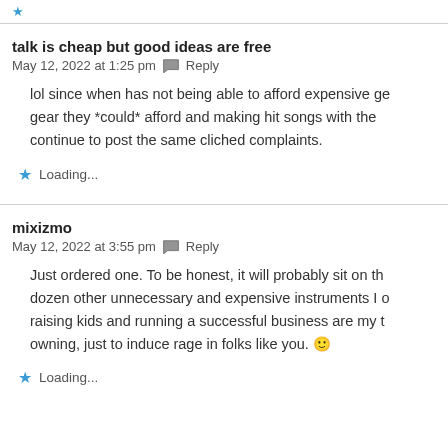★ (partial top fragment)
talk is cheap but good ideas are free
May 12, 2022 at 1:25 pm  Reply
lol since when has not being able to afford expensive ge… gear they *could* afford and making hit songs with the… continue to post the same cliched complaints.
★ Loading...
mixizmo
May 12, 2022 at 3:55 pm  Reply
Just ordered one. To be honest, it will probably sit on th… dozen other unnecessary and expensive instruments I o… raising kids and running a successful business are my t… owning, just to induce rage in folks like you. 🙂
★ Loading...